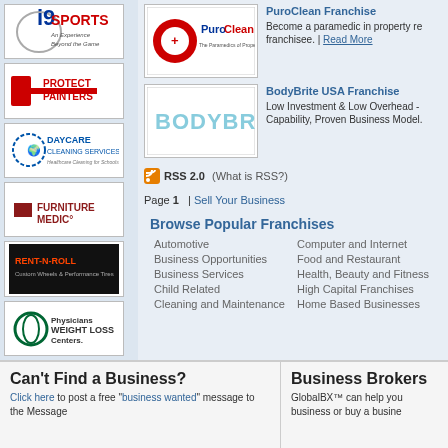[Figure (logo): i9 Sports logo - An Experience Beyond the Game]
[Figure (logo): Protect Painters logo]
[Figure (logo): Daycare Cleaning Services logo]
[Figure (logo): Furniture Medic logo]
[Figure (logo): Rent-N-Roll Custom Wheels & Performance Tires logo]
[Figure (logo): Physicians Weight Loss Centers logo]
[Figure (logo): PuroClean logo - The Paramedics of Property Damage]
PuroClean Franchise
Become a paramedic in property re franchisee. | Read More
[Figure (logo): BodyBrite logo]
BodyBrite USA Franchise
Low Investment & Low Overhead - Capability, Proven Business Model.
RSS 2.0  (What is RSS?)
Page 1  | Sell Your Business
Browse Popular Franchises
Automotive
Business Opportunities
Business Services
Child Related
Cleaning and Maintenance
Computer and Internet
Food and Restaurant
Health, Beauty and Fitness
High Capital Franchises
Home Based Businesses
Can't Find a Business?
Click here to post a free "business wanted" message to the Message
Business Brokers
GlobalBX™ can help you business or buy a busine